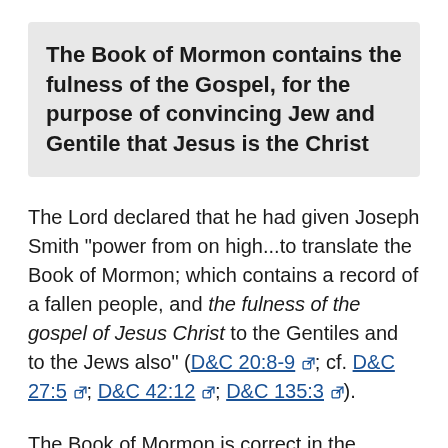The Book of Mormon contains the fulness of the Gospel, for the purpose of convincing Jew and Gentile that Jesus is the Christ
The Lord declared that he had given Joseph Smith "power from on high...to translate the Book of Mormon; which contains a record of a fallen people, and the fulness of the gospel of Jesus Christ to the Gentiles and to the Jews also" (D&C 20:8-9; cf. D&C 27:5; D&C 42:12; D&C 135:3).
The Book of Mormon is correct in the doctrines and principles it teaches, but it does not claim to